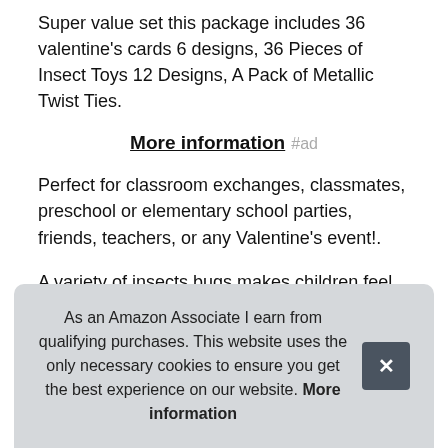Super value set this package includes 36 valentine's cards 6 designs, 36 Pieces of Insect Toys 12 Designs, A Pack of Metallic Twist Ties.
More information #ad
Perfect for classroom exchanges, classmates, preschool or elementary school parties, friends, teachers, or any Valentine's event!.
A variety of insects bugs makes children feel interested and surprised. Love bug gift children send their own elaborate greeting cards to bug lovers, and parents. Novel & creative valentine cards the valentine handmade cards with insects elements. We... figue...
As an Amazon Associate I earn from qualifying purchases. This website uses the only necessary cookies to ensure you get the best experience on our website. More information